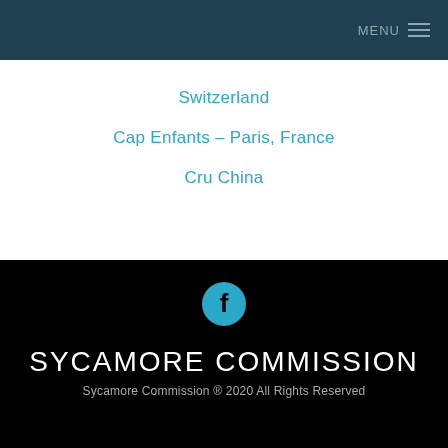MENU
Switzerland
Cap Enfants – Paris, France
Cru China
[Figure (logo): Facebook icon - circular teal button with white 'f' logo]
SYCAMORE COMMISSION
Sycamore Commission ® 2020 All Rights Reserved